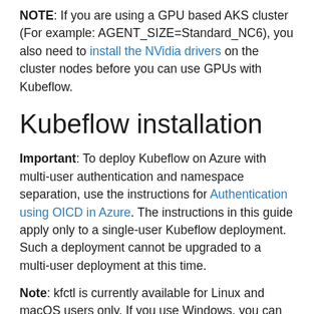NOTE: If you are using a GPU based AKS cluster (For example: AGENT_SIZE=Standard_NC6), you also need to install the NVidia drivers on the cluster nodes before you can use GPUs with Kubeflow.
Kubeflow installation
Important: To deploy Kubeflow on Azure with multi-user authentication and namespace separation, use the instructions for Authentication using OICD in Azure. The instructions in this guide apply only to a single-user Kubeflow deployment. Such a deployment cannot be upgraded to a multi-user deployment at this time.
Note: kfctl is currently available for Linux and macOS users only. If you use Windows, you can install kfctl on Windows Subsystem for Linux (WSL). Refer to the